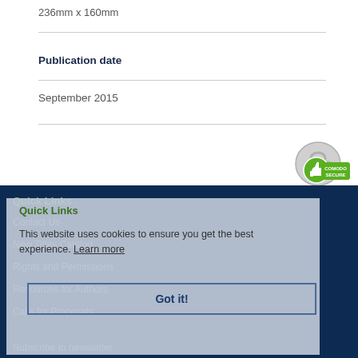236mm x 160mm
Publication date
September 2015
[Figure (logo): Comodo Secure badge with thumbs-up icon and green/grey design]
Quick Links
This website uses cookies to ensure you get the best experience. Learn more
Contact Us
New Titles Catalog
Rights and Permissions
Resources for Authors
Calls for Proposals
Got it!
Subscribe to newsletter